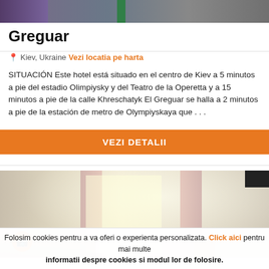[Figure (photo): Top banner photo of a city street or building exterior, partially visible]
Greguar
📍 Kiev, Ukraine Vezi locatia pe harta
SITUACIÓN Este hotel está situado en el centro de Kiev a 5 minutos a pie del estadio Olimpiysky y del Teatro de la Operetta y a 15 minutos a pie de la calle Khreschatyk El Greguar se halla a 2 minutos a pie de la estación de metro de Olympiyskaya que . . .
VEZI DETALII
[Figure (photo): Hotel room interior with yellow walls, pink curtains, a sofa, and a window with natural light; a TV is mounted on the right wall]
Folosim cookies pentru a va oferi o experienta personalizata. Click aici pentru mai multe informatii despre cookies si modul lor de folosire.